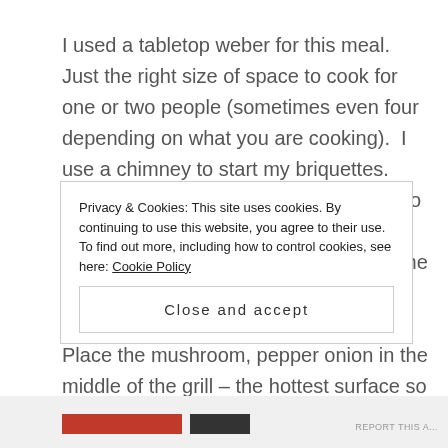I used a tabletop weber for this meal.  Just the right size of space to cook for one or two people (sometimes even four depending on what you are cooking).  I use a chimney to start my briquettes.  Once the briquettes are hot and ready to use, I spread them out so that there is two inches along the whole outside of the grill top screen.

Place the mushroom, pepper onion in the middle of the grill – the hottest surface so the pepper can burn
Privacy & Cookies: This site uses cookies. By continuing to use this website, you agree to their use.
To find out more, including how to control cookies, see here: Cookie Policy
Close and accept